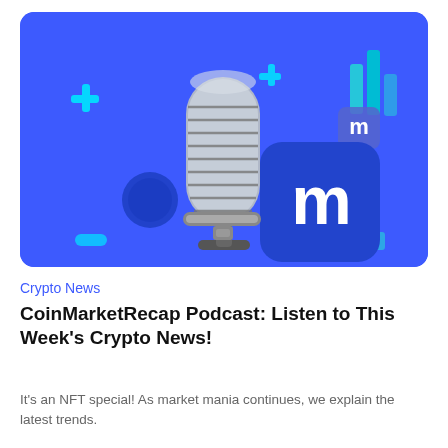[Figure (illustration): A 3D illustration on a bright blue background featuring a vintage silver microphone in the center, a CoinMarketCap logo badge (blue rounded square with white M letter), cyan plus signs, a blue circle, teal bar chart icons, and a small CoinMarketCap icon on the right side.]
Crypto News
CoinMarketRecap Podcast: Listen to This Week's Crypto News!
It's an NFT special! As market mania continues, we explain the latest trends.